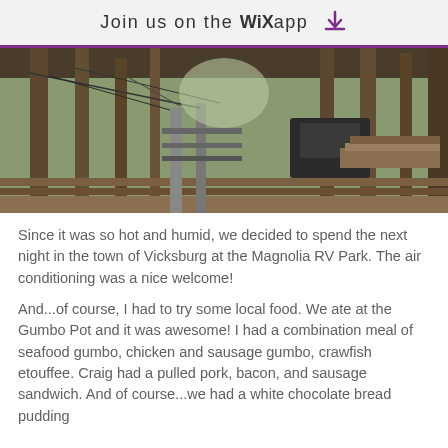Join us on the WiX app
[Figure (photo): Interior of a historic wooden structure or sawmill, showing rough-hewn timber beams, wooden planks, and machinery, viewed from inside looking down a long corridor]
Since it was so hot and humid, we decided to spend the next night in the town of Vicksburg at the Magnolia RV Park.  The air conditioning was a nice welcome!
And...of course, I had to try some local food.  We ate at the Gumbo Pot and it was awesome!  I had a combination meal of seafood gumbo, chicken and sausage gumbo, crawfish etouffee.  Craig had a pulled pork, bacon, and sausage sandwich.  And of course...we had a white chocolate bread pudding